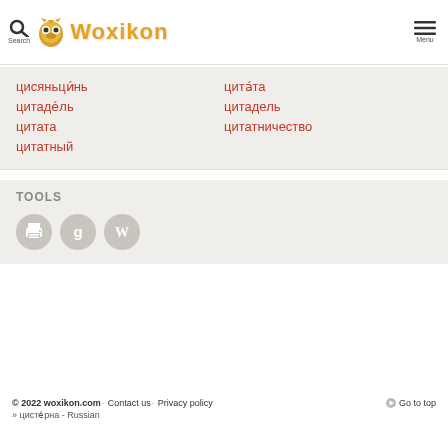Search | Woxikon | Menu
цисяньцинь
цитадель
цитата
цитатный
цитата
цитадель
цитатничество
TOOLS
[Figure (other): Three circular tool buttons: print icon, Google search icon, Wikipedia icon]
© 2022 woxikon.com· Contact us· Privacy policy  Go to top
» цистерна - Russian